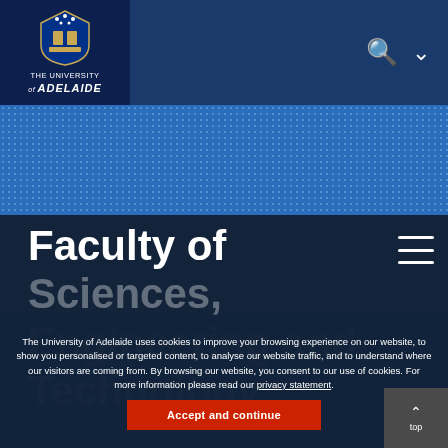[Figure (logo): The University of Adelaide logo with shield crest and text]
[Figure (photo): Blue halftone hero banner image area]
Faculty of Sciences, Engineering and Technology
The University of Adelaide uses cookies to improve your browsing experience on our website, to show you personalised or targeted content, to analyse our website traffic, and to understand where our visitors are coming from. By browsing our website, you consent to our use of cookies. For more information please read our privacy statement.
Accept and continue